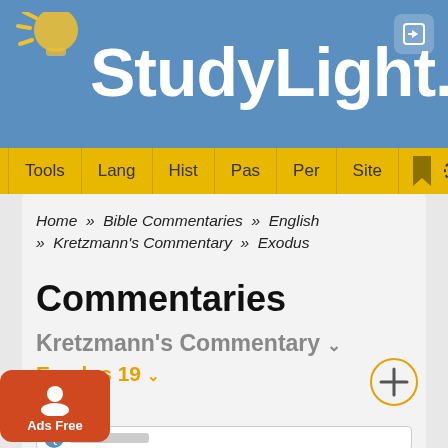StudyLight.org
Tools | Lang | Hist | Pas | Per | Site
Home » Bible Commentaries » English » Kretzmann's Commentary » Exodus
Commentaries
Kretzmann's Commentary
Exodus 19